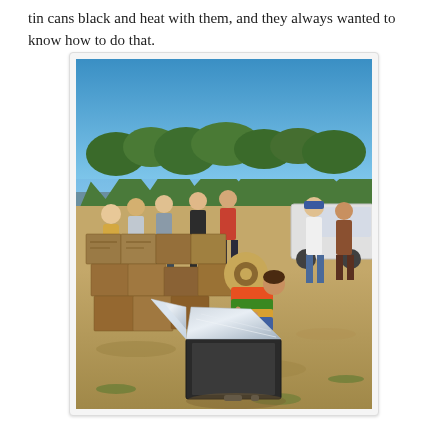tin cans black and heat with them, and they always wanted to know how to do that.
[Figure (photo): Outdoor scene showing a group of people gathered on dry ground with trees in the background under a clear blue sky. A person in a colorful garment is bending over a solar box cooker with reflective panels open. Multiple cardboard boxes are stacked nearby. Other participants stand around in the background near a white truck.]